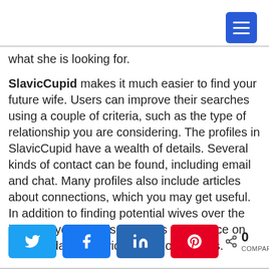[Figure (other): Blue hamburger menu button in top right corner]
what she is looking for.
SlavicCupid makes it much easier to find your future wife. Users can improve their searches using a couple of criteria, such as the type of relationship you are considering. The profiles in SlavicCupid have a wealth of details. Several kinds of contact can be found, including email and chat. Many profiles also include articles about connections, which you may get useful. In addition to finding potential wives over the internet, you can also find tips and advice on internet dating Slavic women of all ages.
[Figure (other): Social sharing buttons: Twitter (blue), Facebook (blue), LinkedIn (dark blue), Pinterest (red), and a share count showing 0 COMPART]